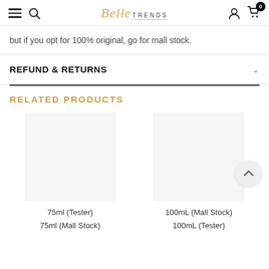Belle TRENDS — navigation header with menu, search, user, cart (0)
but if you opt for 100% original, go for mall stock.
REFUND & RETURNS
RELATED PRODUCTS
75ml (Tester)
75ml (Mall Stock)
100mL (Mall Stock)
100mL (Tester)